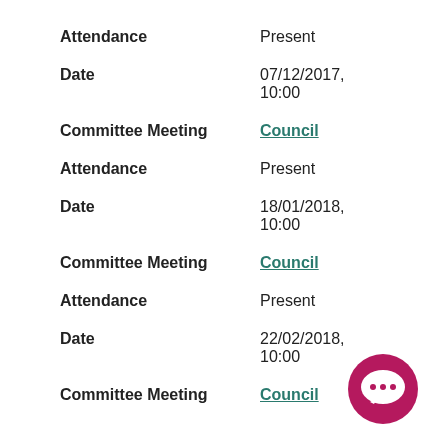Attendance: Present
Date: 07/12/2017, 10:00
Committee Meeting: Council
Attendance: Present
Date: 18/01/2018, 10:00
Committee Meeting: Council
Attendance: Present
Date: 22/02/2018, 10:00
Committee Meeting: Council
[Figure (illustration): Dark pink/magenta circular chat bubble icon with three dots]